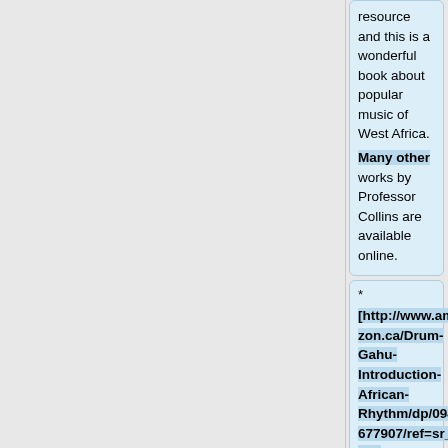resource and this is a wonderful book about popular music of West Africa. Many other works by Professor Collins are available online.
* [http://www.amazon.ca/Drum-Gahu-Introduction-African-Rhythm/dp/0941677907/ref=sr_1_3?ie=UTF8&s=books&qid=1272343518&sr=8-3 David Locke -